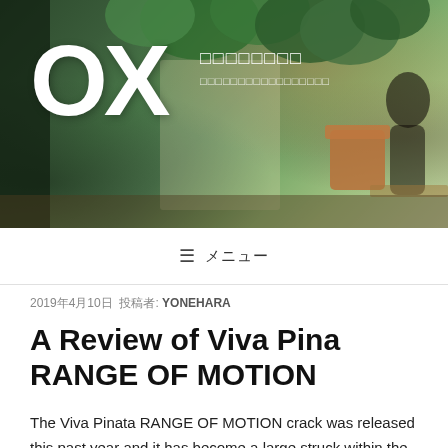[Figure (photo): Header banner photo of a cafe/indoor garden setting with green plants, large windows, and warm lighting. Overlaid with a large white 'OX' logo and Japanese text lines.]
☰ メニュー
2019年4月10日 投稿者: YONEHARA
A Review of Viva Pina RANGE OF MOTION
The Viva Pinata RANGE OF MOTION crack was released this past year and it has become a large struck within the games society, as it allows consumers that can be played basic game game titles by making use of some sort of modified RANGE OF MOTION chip. During this post, we